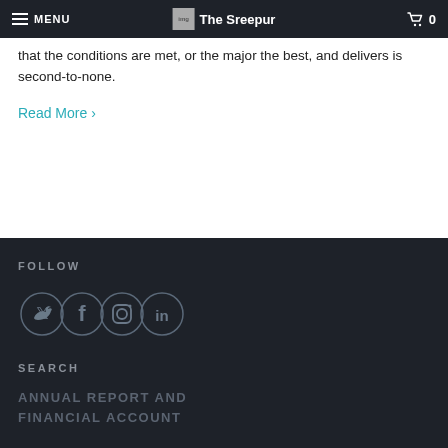MENU | The Sreepur | 0
that the conditions are met, or the major the best, and delivers is second-to-none.
Read More ›
FOLLOW
[Figure (illustration): Four social media icon circles: Twitter, Facebook, Instagram, LinkedIn]
SEARCH
ANNUAL REPORT AND FINANCIAL ACCOUNT